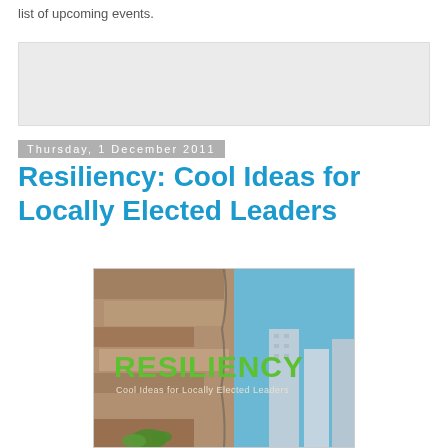list of upcoming events.
[Figure (other): Advertisement placeholder box (light grey rectangle)]
Thursday, 1 December 2011
Resiliency: Cool Ideas for Locally Elected Leaders
[Figure (photo): Book cover image for 'RESILIENCY: Cool Ideas for Locally Elected Leaders' showing a crumbling stone wall on the left and city skyscrapers on the right under a blue sky, with large green text overlay reading RESILIENCY and subtitle Cool Ideas for Locally Elected Leaders]